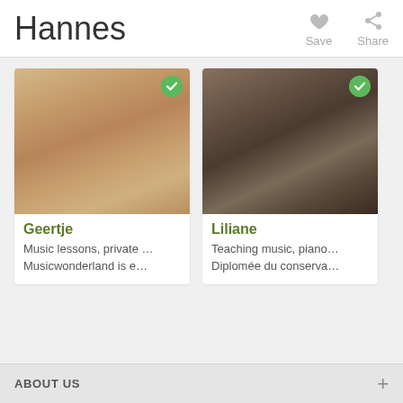Hannes
Save
Share
[Figure (photo): Photo of Geertje, a woman with blonde hair playing violin, with green checkmark badge]
Geertje
Music lessons, private ...
Musicwonderland is e...
[Figure (photo): Photo of Liliane, a woman with dark hair wearing checkered top, with green checkmark badge]
Liliane
Teaching music, piano...
Diplomée du conserva...
ABOUT US
Contact Hannes